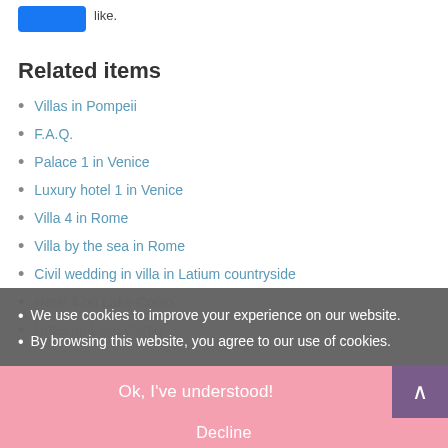[Figure (other): Blue 'Like' button followed by text 'like.']
Related items
Villas in Pompeii
F.A.Q.
Palace 1 in Venice
Luxury hotel 1 in Venice
Villa 4 in Rome
Villa by the sea in Rome
Civil wedding in villa in Latium countryside
Hotel 4 on Lake Como
Hotel on Lake Como
We use cookies to improve your experience on our website.
By browsing this website, you agree to our use of cookies.
Ok, I've understood!
Decline